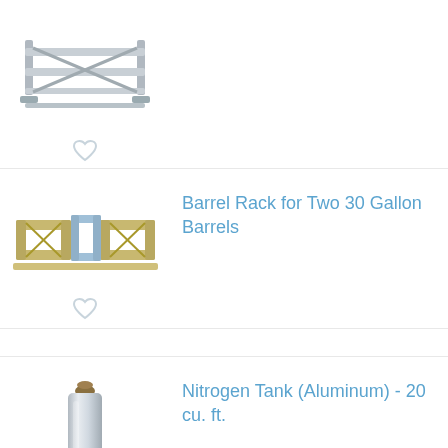[Figure (photo): Partial view of a metal rack product, cropped at top]
[Figure (illustration): Heart/favorite icon (gray outline)]
[Figure (photo): Barrel Rack for Two 30 Gallon Barrels - metal rack product photo]
Barrel Rack for Two 30 Gallon Barrels
[Figure (illustration): Heart/favorite icon (gray outline)]
[Figure (photo): Nitrogen Tank (Aluminum) - 20 cu. ft. - silver aluminum cylinder]
Nitrogen Tank (Aluminum) - 20 cu. ft.
[Figure (illustration): Heart/favorite icon (gray outline)]
[Figure (photo): Potassium Metabisulfite - white powder substance]
Potassium Metabisulfite